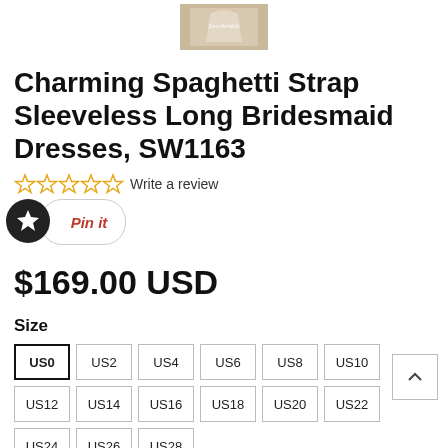[Figure (photo): Product thumbnail image of bridesmaid dress with 'Sweetbridals' watermark text, showing a woman in a light-colored dress]
Charming Spaghetti Strap Sleeveless Long Bridesmaid Dresses, SW1163
Write a review
Pin it
$169.00 USD
Size
US0
US2
US4
US6
US8
US10
US12
US14
US16
US18
US20
US22
US24
US26
US28